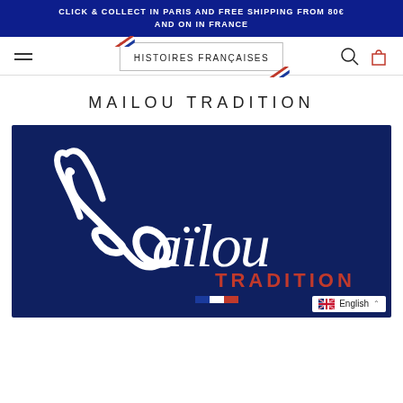CLICK & COLLECT IN PARIS AND FREE SHIPPING FROM 80€ AND ON IN FRANCE
[Figure (logo): Histoires Françaises logo with French flag diagonal stripes on a rectangular badge]
MAILOU TRADITION
[Figure (photo): Dark navy background product image showing the Maïlou Tradition brand logo in cursive white script with 'TRADITION' in red text and a small French tricolor flag stripe below]